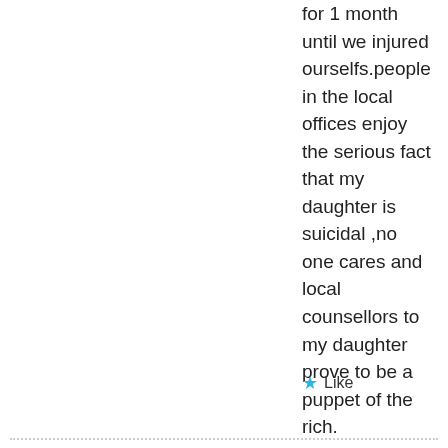for 1 month until we injured ourselfs.people in the local offices enjoy the serious fact that my daughter is suicidal ,no one cares and local counsellors to my daughter prove to be a puppet of the rich.
★ Like
January 8, 2016 at 5:53 pm
[Figure (illustration): Green and white geometric avatar/identicon for user Dan]
Dan
Hi,
I'm currently in my final year of University in Greenwich. I'm doing one of my final major project's at the moment where I have to deliver a message through the use of typography. For my project I want to help